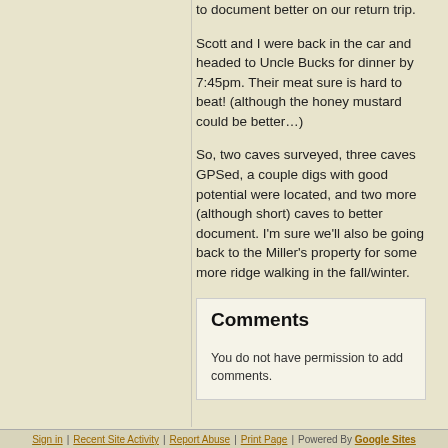to document better on our return trip.
Scott and I were back in the car and headed to Uncle Bucks for dinner by 7:45pm. Their meat sure is hard to beat! (although the honey mustard could be better…)
So, two caves surveyed, three caves GPSed, a couple digs with good potential were located, and two more (although short) caves to better document. I'm sure we'll also be going back to the Miller's property for some more ridge walking in the fall/winter.
Comments
You do not have permission to add comments.
Sign in | Recent Site Activity | Report Abuse | Print Page | Powered By Google Sites